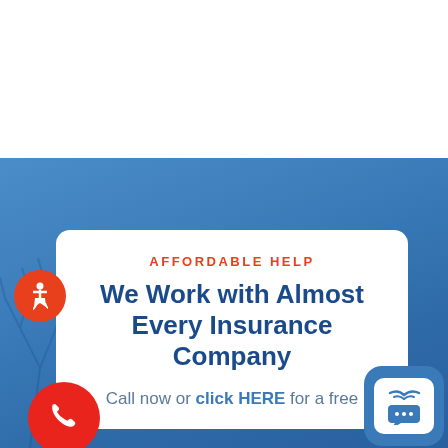[Figure (photo): Blue sky background with bare tree branches visible on the left side]
[Figure (illustration): Orange/red circular accessibility icon (wheelchair symbol) in upper left]
AFFORDABLE HELP
We Work with Almost Every Insurance Company
Call now or click HERE for a free
[Figure (illustration): Red circular phone call button on lower left]
[Figure (illustration): Blue chat/messaging widget button on lower right]